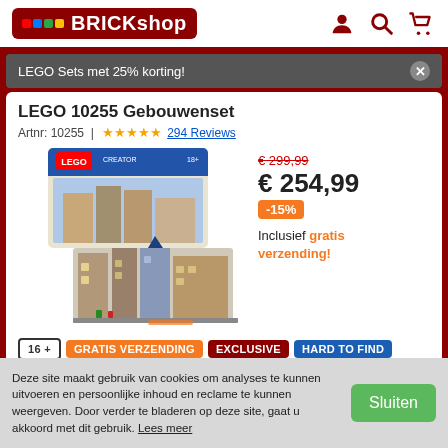[Figure (logo): BRICKshop logo with colored dots on dark red background]
LEGO Sets met 25% korting!
LEGO 10255 Gebouwenset
Artnr: 10255 | ★★★★★ 294 Reviews
[Figure (photo): LEGO 10255 Assembly Square set product photo showing the box and the assembled building]
€ 299,99 (old price, strikethrough)
€ 254,99
-15%
Inclusief gratis verzending!
16 +
GRATIS VERZENDING
EXCLUSIVE
HARD TO FIND
AANBIEDING
Deze site maakt gebruik van cookies om analyses te kunnen uitvoeren en persoonlijke inhoud en reclame te kunnen weergeven. Door verder te bladeren op deze site, gaat u akkoord met dit gebruik. Lees meer